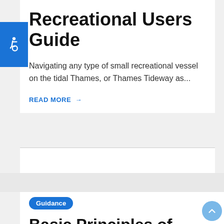[Figure (illustration): Blue square icon with white wheelchair accessibility symbol]
Recreational Users Guide
Navigating any type of small recreational vessel on the tidal Thames, or Thames Tideway as...
READ MORE →
Guidance
Basic Principles of